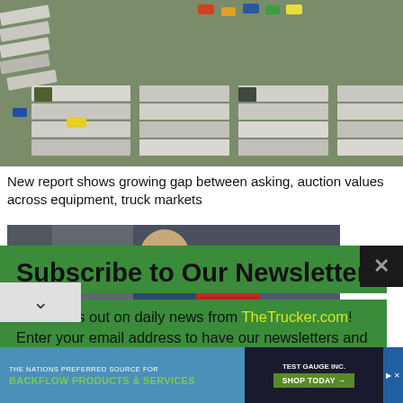[Figure (photo): Aerial view of a truck lot with multiple semi-trucks and trailers parked in rows, viewed from above]
New report shows growing gap between asking, auction values across equipment, truck markets
[Figure (photo): Portrait photo of a man wearing glasses standing in front of a semi-truck]
Subscribe to Our Newsletter
Don't miss out on daily news from TheTrucker.com! Enter your email address to have our newsletters and email alerts straight to your mailbox — all for free.
[Figure (screenshot): Advertisement bar at bottom: Test Gauge Inc. - The Nations Preferred Source for Backflow Products & Services. Shop Today button.]